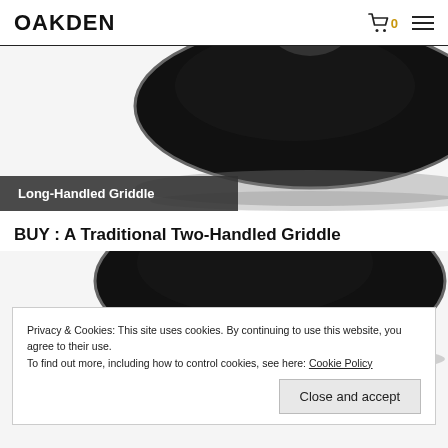OAKDEN
[Figure (photo): Top-down view of a round black long-handled griddle/tawa on white background]
Long-Handled Griddle
BUY : A Traditional Two-Handled Griddle
[Figure (photo): Partial view of a round black two-handled griddle/tawa on white background]
Privacy & Cookies: This site uses cookies. By continuing to use this website, you agree to their use.
To find out more, including how to control cookies, see here: Cookie Policy
Close and accept
Two-Handled